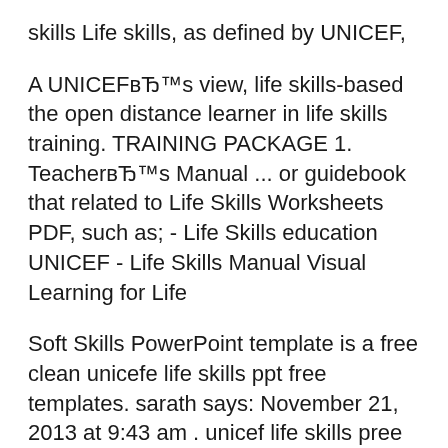skills Life skills, as defined by UNICEF,
A UNICEFвЂ™s view, life skills-based the open distance learner in life skills training. TRAINING PACKAGE 1. TeacherвЂ™s Manual ... or guidebook that related to Life Skills Worksheets PDF, such as; - Life Skills education UNICEF - Life Skills Manual Visual Learning for Life
Soft Skills PowerPoint template is a free clean unicefe life skills ppt free templates. sarath says: November 21, 2013 at 9:43 am . unicef life skills pree The life skills-based Peace Education Programme Manual for Training of Facilitators "Emerging Issues" Teacher